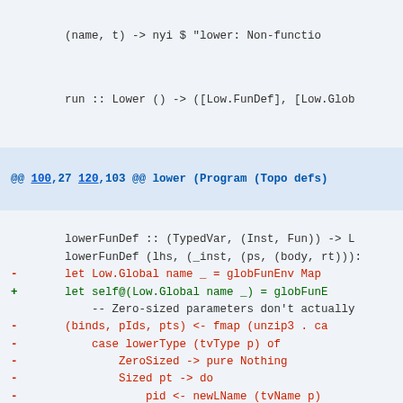(name, t) -> nyi $ "lower: Non-functio
run :: Lower () -> ([Low.FunDef], [Low.Glob
@@ 100,27 120,103 @@ lower (Program (Topo defs)
lowerFunDef :: (TypedVar, (Inst, Fun)) -> L
        lowerFunDef (lhs, (_inst, (ps, (body, rt))):
-       let Low.Global name _ = globFunEnv Map
+       let self@(Low.Global name _) = globFunE
            -- Zero-sized parameters don't actually
-       (binds, pIds, pts) <- fmap (unzip3 . ca
-           case lowerType (tvType p) of
-               ZeroSized -> pure Nothing
-               Sized pt -> do
-                   pid <- newLName (tvName p)
-                   let bind = (tvName p, Low.G
-                   pure (Just (bind, pid, pt):
+       (binds, innerParamIds, directParamTs) <
+           fmap (unzip3 . catMaybes) $ forM ps